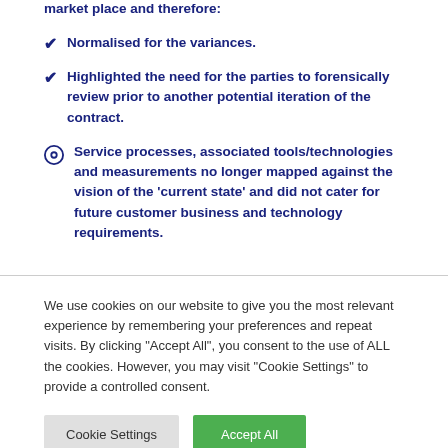market place and therefore:
Normalised for the variances.
Highlighted the need for the parties to forensically review prior to another potential iteration of the contract.
Service processes, associated tools/technologies and measurements no longer mapped against the vision of the 'current state' and did not cater for future customer business and technology requirements.
We use cookies on our website to give you the most relevant experience by remembering your preferences and repeat visits. By clicking "Accept All", you consent to the use of ALL the cookies. However, you may visit "Cookie Settings" to provide a controlled consent.